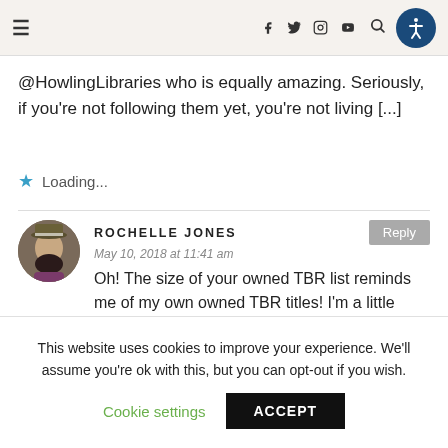Navigation bar with hamburger menu, social icons (Facebook, Twitter, Instagram, YouTube), search icon, and accessibility button
@HowlingLibraries who is equally amazing. Seriously, if you're not following them yet, you're not living [...]
Loading...
ROCHELLE JONES
May 10, 2018 at 11:41 am
Oh! The size of your owned TBR list reminds me of my own owned TBR titles! I'm a little relieved to know that I am not alone in my
This website uses cookies to improve your experience. We'll assume you're ok with this, but you can opt-out if you wish.
Cookie settings
ACCEPT